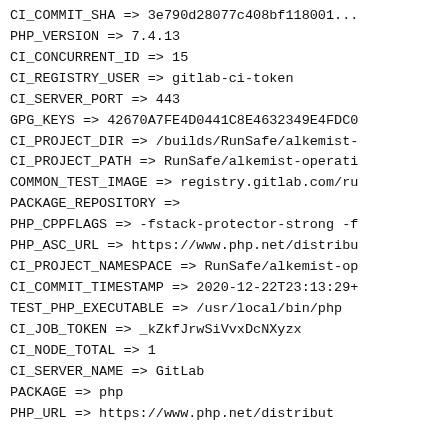CI_COMMIT_SHA => 3e790d28077c408bf118001... (truncated top)
PHP_VERSION => 7.4.13
CI_CONCURRENT_ID => 15
CI_REGISTRY_USER => gitlab-ci-token
CI_SERVER_PORT => 443
GPG_KEYS => 42670A7FE4D0441C8E4632349E4FDC0...
CI_PROJECT_DIR => /builds/RunSafe/alkemist-...
CI_PROJECT_PATH => RunSafe/alkemist-operati...
COMMON_TEST_IMAGE => registry.gitlab.com/ru...
PACKAGE_REPOSITORY =>
PHP_CPPFLAGS => -fstack-protector-strong -f...
PHP_ASC_URL => https://www.php.net/distribu...
CI_PROJECT_NAMESPACE => RunSafe/alkemist-op...
CI_COMMIT_TIMESTAMP => 2020-12-22T23:13:29+...
TEST_PHP_EXECUTABLE => /usr/local/bin/php
CI_JOB_TOKEN => _kZkfJrwSiVvxDcNXyzx
CI_NODE_TOTAL => 1
CI_SERVER_NAME => GitLab
PACKAGE => php
PHP_URL => https://www.php.net/distribut... (truncated bottom)